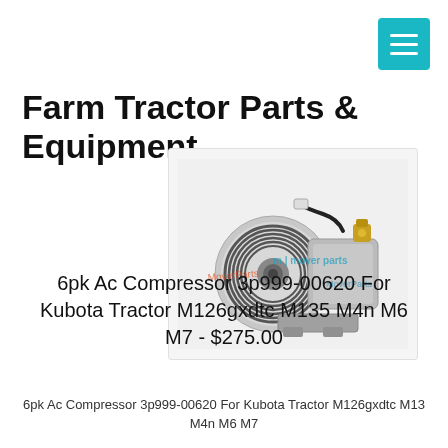Farm Tractor Parts & Equipment
[Figure (photo): AC compressor unit with pulley and fittings, watermarked with 'MoverParts' text overlay]
6pk Ac Compressor 3p999-00620 For Kubota Tractor M126gxdtc M135 M4n M6 M7 - $275.00
6pk Ac Compressor 3p999-00620 For Kubota Tractor M126gxdtc M135 M4n M6 M7